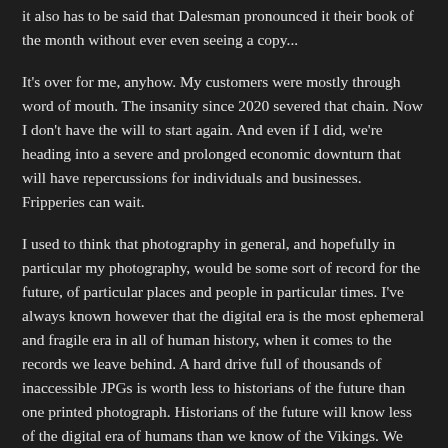it also has to be said that Dalesman pronounced it their book of the month without ever even seeing a copy...
It's over for me, anyhow. My customers were mostly through word of mouth. The insanity since 2020 severed that chain. Now I don't have the will to start again. And even if I did, we're heading into a severe and prolonged economic downturn that will have repercussions for individuals and businesses. Fripperies can wait.
I used to think that photography in general, and hopefully in particular my photography, would be some sort of record for the future, of particular places and people in particular times. I've always known however that the digital era is the most ephemeral and fragile era in all of human history, when it comes to the records we leave behind. A hard drive full of thousands of inaccessible JPGs is worth less to historians of the future than one printed photograph. Historians of the future will know less of the digital era of humans than we know of the Vikings. We will leave nothing behind.
One day, Google will switch off their blogspot servers. It might be ten years from now. It might be fifteen. This will, along with, I will...